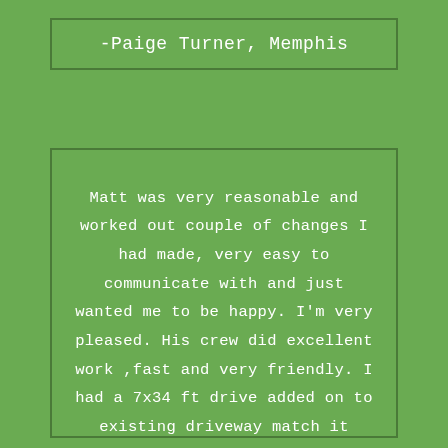-Paige Turner, Memphis
Matt was very reasonable and worked out couple of changes I had made, very easy to communicate with and just wanted me to be happy. I'm very pleased. His crew did excellent work ,fast and very friendly. I had a 7x34 ft drive added on to existing driveway match it perfect and was a one day.